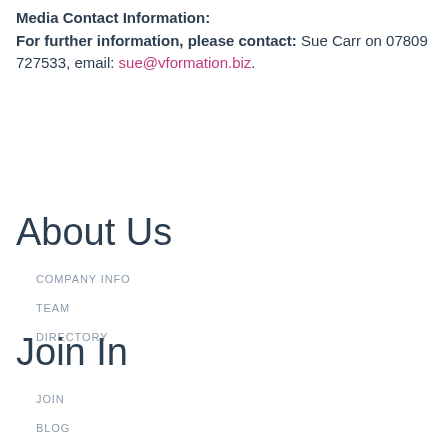Media Contact Information:
For further information, please contact: Sue Carr on 07809 727533, email: sue@vformation.biz.
About Us
COMPANY INFO
TEAM
DIRECTORY
Join In
JOIN
BLOG
EVENTS